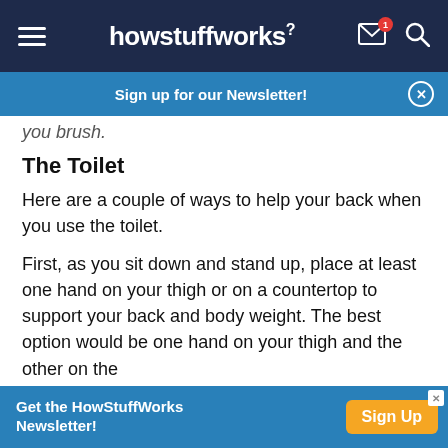howstuffworks
Sign up for our Newsletter!
you brush.
The Toilet
Here are a couple of ways to help your back when you use the toilet.
First, as you sit down and stand up, place at least one hand on your thigh or on a countertop to support your back and body weight. The best option would be one hand on your thigh and the other on the
Get the HowStuffWorks Newsletter! Sign Up